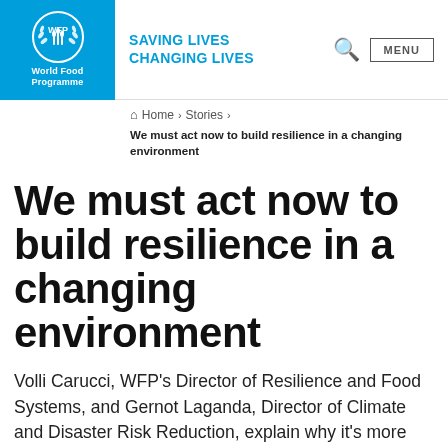[Figure (logo): WFP (World Food Programme) logo — white emblem on blue background with text 'World Food Programme']
SAVING LIVES
CHANGING LIVES
Home › Stories ›
We must act now to build resilience in a changing environment
We must act now to build resilience in a changing environment
Volli Carucci, WFP's Director of Resilience and Food Systems, and Gernot Laganda, Director of Climate and Disaster Risk Reduction, explain why it's more important than ever to help communities to adapt to climate change, transform our food systems and